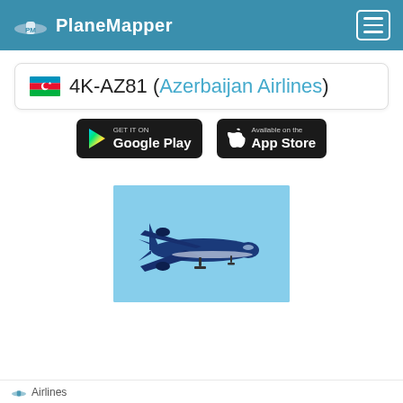PlaneMapper
4K-AZ81 (Azerbaijan Airlines)
[Figure (screenshot): Google Play store badge - black rounded rectangle with Play icon and text 'GET IT ON Google Play']
[Figure (screenshot): Apple App Store badge - black rounded rectangle with Apple logo and text 'Available on the App Store']
[Figure (photo): Photo of an Azerbaijan Airlines aircraft (blue livery) in flight against a blue sky]
Airlines